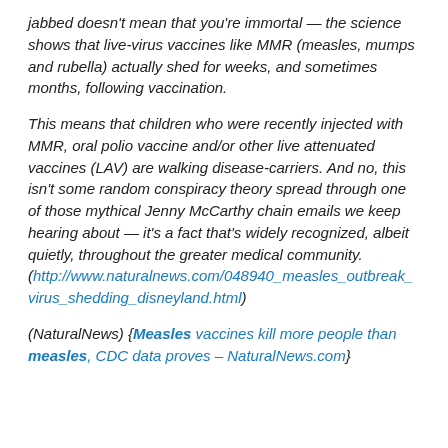jabbed doesn't mean that you're immortal — the science shows that live-virus vaccines like MMR (measles, mumps and rubella) actually shed for weeks, and sometimes months, following vaccination.
This means that children who were recently injected with MMR, oral polio vaccine and/or other live attenuated vaccines (LAV) are walking disease-carriers. And no, this isn't some random conspiracy theory spread through one of those mythical Jenny McCarthy chain emails we keep hearing about — it's a fact that's widely recognized, albeit quietly, throughout the greater medical community. (http://www.naturalnews.com/048940_measles_outbreak_virus_shedding_disneyland.html)
(NaturalNews) {Measles vaccines kill more people than measles, CDC data proves – NaturalNews.com}